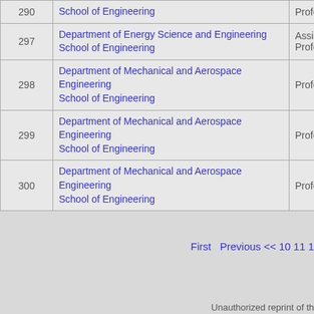| # | Department / School | Role |
| --- | --- | --- |
| 290 | School of Engineering | Profess… |
| 297 | Department of Energy Science and Engineering
School of Engineering | Assista…
Profess… |
| 298 | Department of Mechanical and Aerospace Engineering
School of Engineering | Profess… |
| 299 | Department of Mechanical and Aerospace Engineering
School of Engineering | Profess… |
| 300 | Department of Mechanical and Aerospace Engineering
School of Engineering | Profess… |
First   Previous << 10 11 1…
Unauthorized reprint of th…